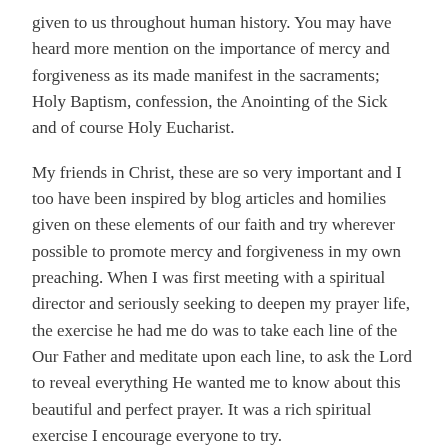given to us throughout human history. You may have heard more mention on the importance of mercy and forgiveness as its made manifest in the sacraments; Holy Baptism, confession, the Anointing of the Sick and of course Holy Eucharist.
My friends in Christ, these are so very important and I too have been inspired by blog articles and homilies given on these elements of our faith and try wherever possible to promote mercy and forgiveness in my own preaching. When I was first meeting with a spiritual director and seriously seeking to deepen my prayer life, the exercise he had me do was to take each line of the Our Father and meditate upon each line, to ask the Lord to reveal everything He wanted me to know about this beautiful and perfect prayer. It was a rich spiritual exercise I encourage everyone to try.
When I was preparing for today's homily, speaking with a brother